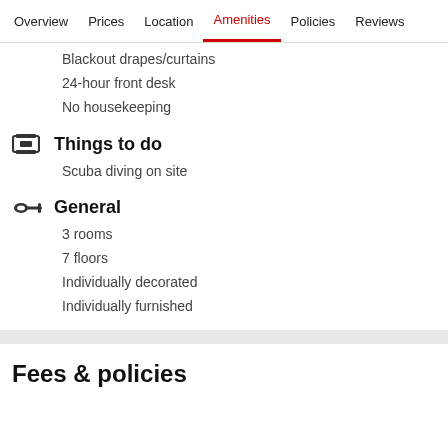Overview  Prices  Location  Amenities  Policies  Reviews
Blackout drapes/curtains
24-hour front desk
No housekeeping
Things to do
Scuba diving on site
General
3 rooms
7 floors
Individually decorated
Individually furnished
Fees & policies